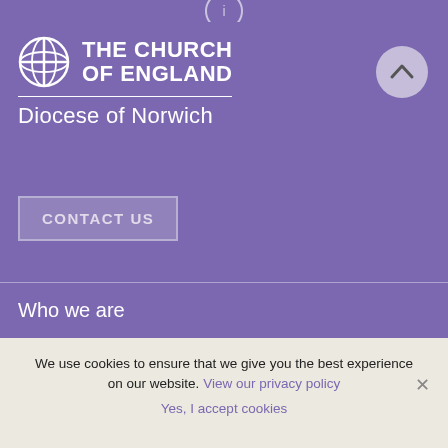[Figure (logo): The Church of England Diocese of Norwich logo with cross symbol]
THE CHURCH OF ENGLAND
Diocese of Norwich
CONTACT US
Who we are
Supporting churches
We use cookies to ensure that we give you the best experience on our website. View our privacy policy
Yes, I accept cookies